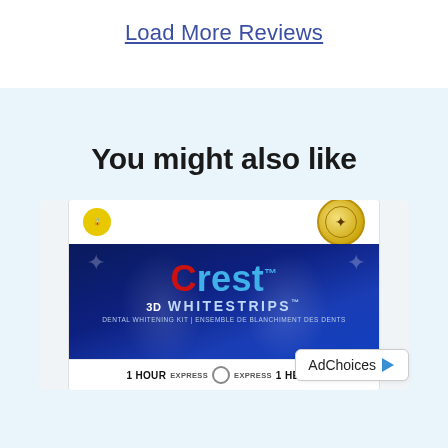Load More Reviews
You might also like
[Figure (photo): Crest 3D Whitestrips Dental Whitening Kit product box with blue background, Crest logo in red and blue, 3D WHITESTRIPS branding, text DENTAL WHITENING KIT | ENSEMBLE DE BLANCHIMENT DES DENTS, and 1 HOUR EXPRESS | EXPRESS 1 HEURE at the bottom. An AdChoices badge is visible in the lower right corner.]